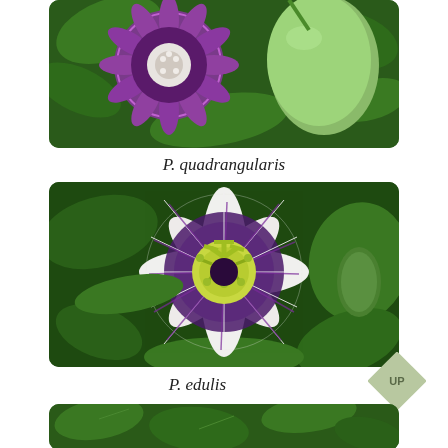[Figure (photo): Photo of Passiflora quadrangularis showing purple passionflower bloom and large green fruit among green leaves]
P. quadrangularis
[Figure (photo): Close-up photo of Passiflora edulis flower with white and purple corona filaments and yellow-green stamens and pistils, with green foliage in background]
P. edulis
[Figure (photo): Partial photo of another Passiflora species showing green leaves at bottom of page]